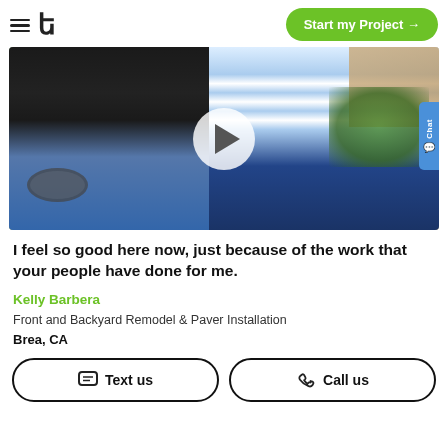Start my Project →
[Figure (photo): Video thumbnail showing two people standing in a backyard patio area with a play button overlay. One person wears a black shirt and jeans, the other wears a blue and white striped jacket. Background shows garden plants and a brick wall.]
I feel so good here now, just because of the work that your people have done for me.
Kelly Barbera
Front and Backyard Remodel & Paver Installation
Brea, CA
Text us
Call us